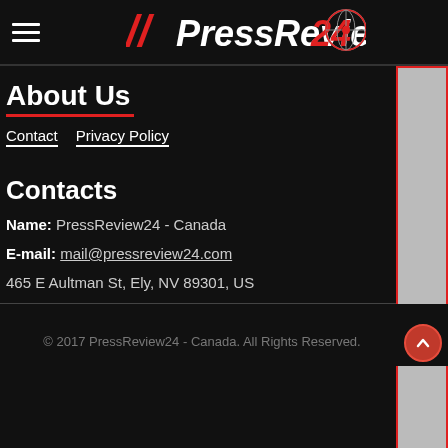PressReview24 (logo/navigation header)
About Us
Contact  Privacy Policy
Contacts
Name: PressReview24 - Canada
E-mail: mail@pressreview24.com
465 E Aultman St, Ely, NV 89301, US
© 2017 PressReview24 - Canada. All Rights Reserved.